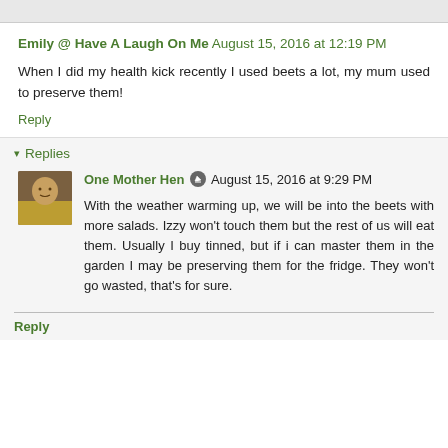Emily @ Have A Laugh On Me August 15, 2016 at 12:19 PM
When I did my health kick recently I used beets a lot, my mum used to preserve them!
Reply
▾ Replies
One Mother Hen August 15, 2016 at 9:29 PM
With the weather warming up, we will be into the beets with more salads. Izzy won't touch them but the rest of us will eat them. Usually I buy tinned, but if i can master them in the garden I may be preserving them for the fridge. They won't go wasted, that's for sure.
Reply